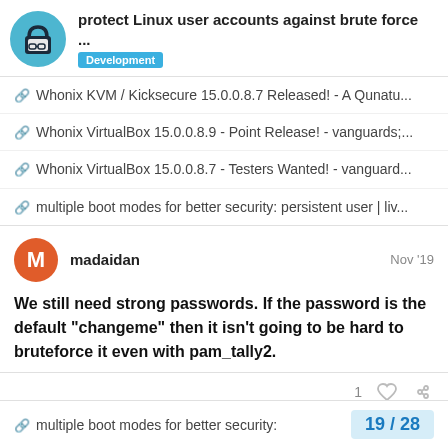protect Linux user accounts against brute force ... | Development
Whonix KVM / Kicksecure 15.0.0.8.7 Released! - A Qunatu...
Whonix VirtualBox 15.0.0.8.9 - Point Release! - vanguards;...
Whonix VirtualBox 15.0.0.8.7 - Testers Wanted! - vanguard...
multiple boot modes for better security: persistent user | liv...
madaidan  Nov '19
We still need strong passwords. If the password is the default "changeme" then it isn't going to be hard to bruteforce it even with pam_tally2.
multiple boot modes for better security:  19 / 28